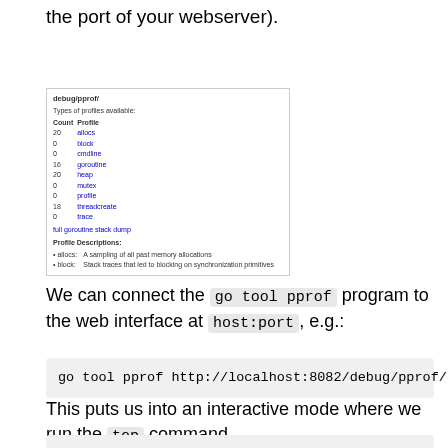the port of your webserver).
[Figure (screenshot): Screenshot of debug/pprof web interface showing types of profiles available with counts and links, and profile descriptions for allocs and block.]
We can connect the go tool pprof program to the web interface at host:port, e.g.:
This puts us into an interactive mode where we run the top command